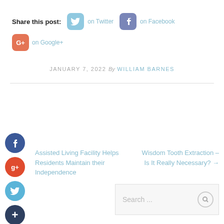Share this post: on Twitter on Facebook on Google+
JANUARY 7, 2022 By WILLIAM BARNES
[Figure (infographic): Social media share buttons: Twitter, Facebook, Google+]
Assisted Living Facility Helps Residents Maintain Their Independence
Wisdom Tooth Extraction – Is It Really Necessary? →
Search ...